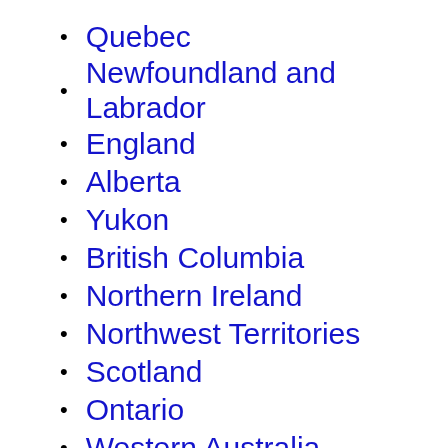Quebec
Newfoundland and Labrador
England
Alberta
Yukon
British Columbia
Northern Ireland
Northwest Territories
Scotland
Ontario
Western Australia